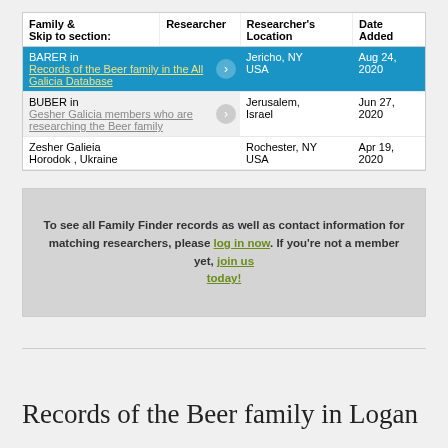| Family & | Researcher | Researcher's Location | Date Added |
| --- | --- | --- | --- |
| Skip to section: |  |  |  |
| BARER in
Records of the Beer family in the All Galicia Database | GG Member | Jericho, NY
USA | Aug 24, 2020 |
| BUBER in
Gesher Galicia members who are researching the Beer family | GG Member | Jerusalem, Israel | Jun 27, 2020 |
| Zesher Galieia
Horodok , Ukraine | GG Member | Rochester, NY
USA | Apr 19, 2020 |
To see all Family Finder records as well as contact information for matching researchers, please log in now. If you're not a member yet, join us today!
Records of the Beer family in Logan